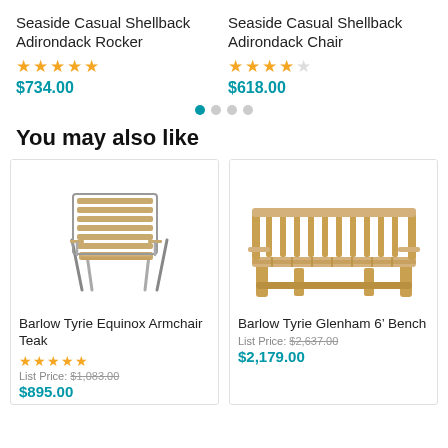Seaside Casual Shellback Adirondack Rocker
★★★★★ $734.00
Seaside Casual Shellback Adirondack Chair
★★★★☆ $618.00
You may also like
[Figure (photo): Barlow Tyrie Equinox Armchair Teak - outdoor dining chair with teak wood slats and stainless steel frame]
Barlow Tyrie Equinox Armchair Teak
★★★★★ List Price: $1,083.00 $895.00
[Figure (photo): Barlow Tyrie Glenham 6' Bench - teak wood garden bench with slatted back and seat]
Barlow Tyrie Glenham 6' Bench
List Price: $2,637.00 $2,179.00